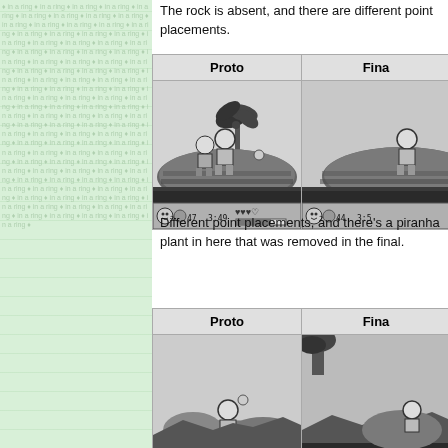The rock is absent, and there are different point placements.
| Proto | Final |
| --- | --- |
| [screenshot: proto game level with palm tree, two characters, floating point item, HUD showing 2 coins, 47 points, 3:49 time, 3 hearts] | [screenshot: final game level, character on hill, HUD showing 2 coins, 44 points, 3:5...] |
Different point placements, and there's a piranha plant in here that was removed in the final.
| Proto | Final |
| --- | --- |
| [screenshot: proto game level underwater/cave with character and floating point] | [screenshot: final game level with plant enemy visible at top] |